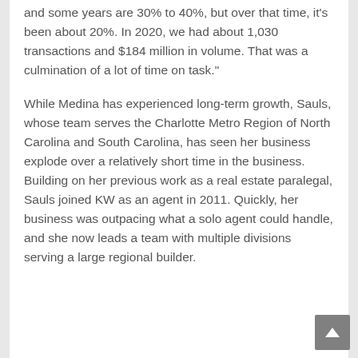and some years are 30% to 40%, but over that time, it's been about 20%. In 2020, we had about 1,030 transactions and $184 million in volume. That was a culmination of a lot of time on task."
While Medina has experienced long-term growth, Sauls, whose team serves the Charlotte Metro Region of North Carolina and South Carolina, has seen her business explode over a relatively short time in the business. Building on her previous work as a real estate paralegal, Sauls joined KW as an agent in 2011. Quickly, her business was outpacing what a solo agent could handle, and she now leads a team with multiple divisions serving a large regional builder.